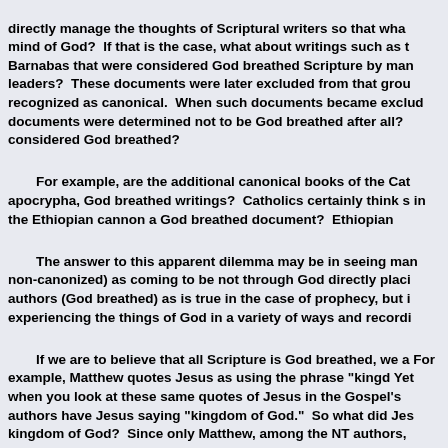directly manage the thoughts of Scriptural writers so that wha mind of God?  If that is the case, what about writings such as the Barnabas that were considered God breathed Scripture by man leaders?  These documents were later excluded from that grou recognized as canonical.  When such documents became exclud documents were determined not to be God breathed after all? considered God breathed?
For example, are the additional canonical books of the Cat apocrypha, God breathed writings?  Catholics certainly think s in the Ethiopian cannon a God breathed document?  Ethiopian
The answer to this apparent dilemma may be in seeing man non-canonized) as coming to be not through God directly placi authors (God breathed) as is true in the case of prophecy, but i experiencing the things of God in a variety of ways and recordi
If we are to believe that all Scripture is God breathed, we a For example, Matthew quotes Jesus as using the phrase "kingd Yet when you look at these same quotes of Jesus in the Gospel's authors have Jesus saying "kingdom of God."  So what did Jes kingdom of God?  Since only Matthew, among the NT authors,